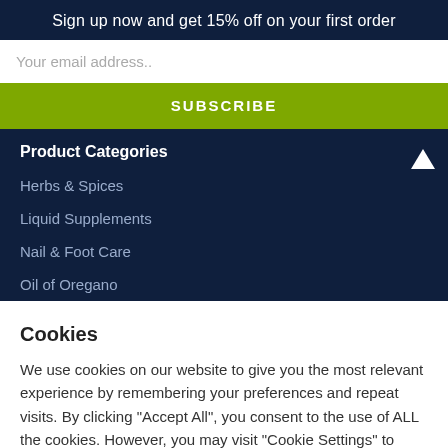Sign up now and get 15% off on your first order
Your email address..
SUBSCRIBE
Product Categories
Herbs & Spices
Liquid Supplements
Nail & Foot Care
Oil of Oregano
Cookies
We use cookies on our website to give you the most relevant experience by remembering your preferences and repeat visits. By clicking "Accept All", you consent to the use of ALL the cookies. However, you may visit "Cookie Settings" to provide a controlled consent.
Cookie Settings
Accept All